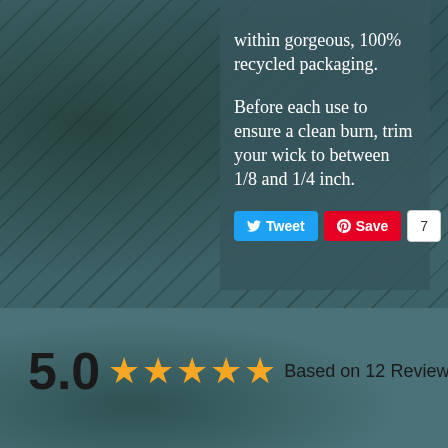within gorgeous, 100% recycled packaging.
Before each use to ensure a clean burn, trim your wick to between 1/8 and 1/4 inch.
[Figure (screenshot): Social sharing buttons: Tweet (Twitter/blue), Save (Pinterest/red), and count badge showing 7]
5.0 ★★★★★ Based on 12 Reviews